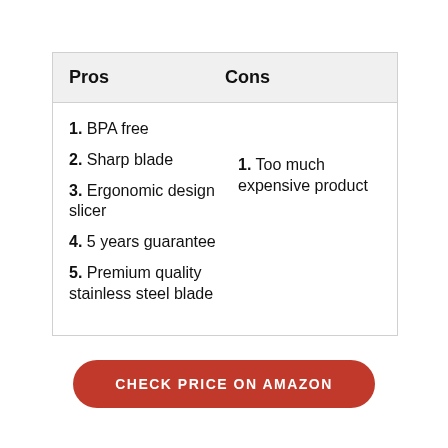| Pros | Cons |
| --- | --- |
| 1. BPA free
2. Sharp blade
3. Ergonomic design slicer
4. 5 years guarantee
5. Premium quality stainless steel blade | 1. Too much expensive product |
CHECK PRICE ON AMAZON